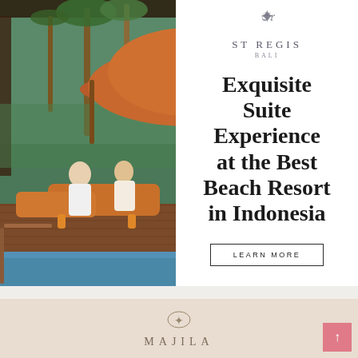[Figure (photo): Hotel resort poolside scene with two people relaxing on orange lounge chairs under a large terracotta umbrella, surrounded by palm trees and tropical greenery, with a swimming pool visible in the foreground and a dark wood pergola structure overhead.]
[Figure (logo): St. Regis Bali logo: decorative monogram crown emblem above the text ST REGIS in spaced capitals, with BALI below in smaller spaced text.]
Exquisite Suite Experience at the Best Beach Resort in Indonesia
LEARN MORE
[Figure (logo): Majila resort logo on a beige background: stylized icon above the text MAJILA in spaced serif capitals.]